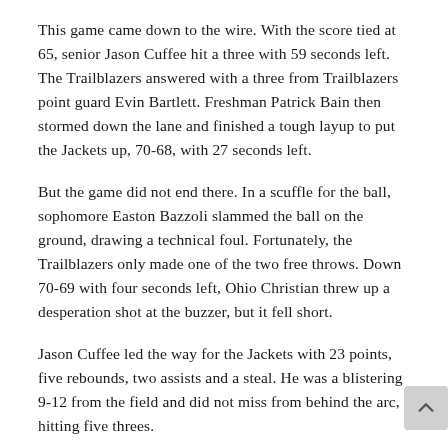This game came down to the wire. With the score tied at 65, senior Jason Cuffee hit a three with 59 seconds left. The Trailblazers answered with a three from Trailblazers point guard Evin Bartlett. Freshman Patrick Bain then stormed down the lane and finished a tough layup to put the Jackets up, 70-68, with 27 seconds left.
But the game did not end there. In a scuffle for the ball, sophomore Easton Bazzoli slammed the ball on the ground, drawing a technical foul. Fortunately, the Trailblazers only made one of the two free throws. Down 70-69 with four seconds left, Ohio Christian threw up a desperation shot at the buzzer, but it fell short.
Jason Cuffee led the way for the Jackets with 23 points, five rebounds, two assists and a steal. He was a blistering 9-12 from the field and did not miss from behind the arc, hitting five threes.